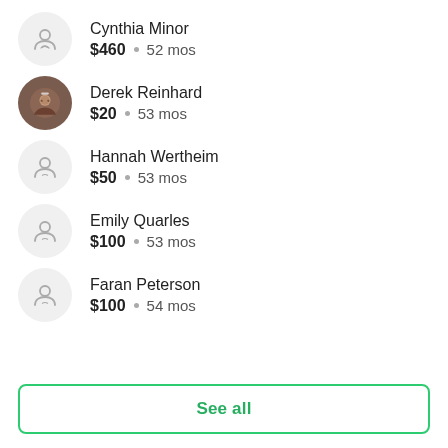Cynthia Minor — $460 • 52 mos
Derek Reinhard — $20 • 53 mos
Hannah Wertheim — $50 • 53 mos
Emily Quarles — $100 • 53 mos
Faran Peterson — $100 • 54 mos
See all